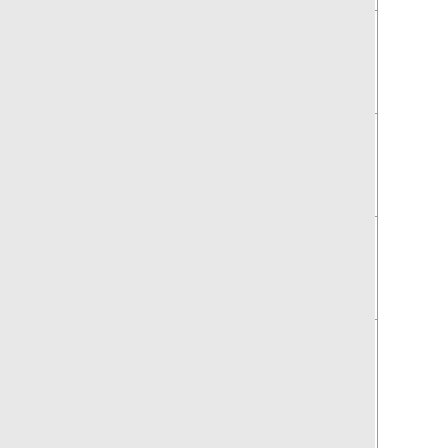| Font Name | Description |
| --- | --- |
| TransylMania | Pending ... yes, wrestl... |
| Trebuchet MS | Used for th... olde versio... King of Tow... |
| Tw Cen MT | Primarily u... word "cont... the Tandy 4... |
| Tw Cen MT Condensed | Most consi... used for m... credits. |
| Tw Cen MT Condensed Extra Bold | Used for th... courses to... Crazy Go N... University a... CGNU. |
| Twentieth Century Poster1 | Font desig... like movie lettering. U... noticeably ... Pizz pizza... |
| (next row) | Used for th... "GYu" in th... |